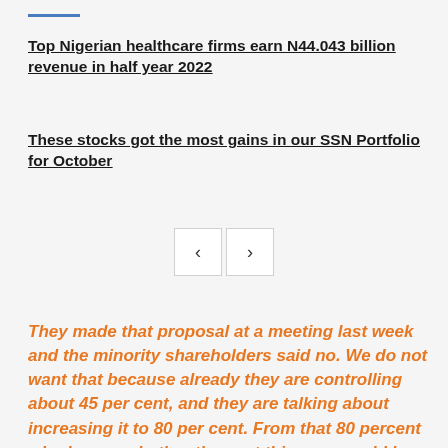Top Nigerian healthcare firms earn N44.043 billion revenue in half year 2022
These stocks got the most gains in our SSN Portfolio for October
They made that proposal at a meeting last week and the minority shareholders said no. We do not want that because already they are controlling about 45 per cent, and they are talking about increasing it to 80 per cent. From that 80 percent who knows whether the next thing we would hear is that they are taking it to 90  or 95 per cent and then, they would push the minority share holders out of